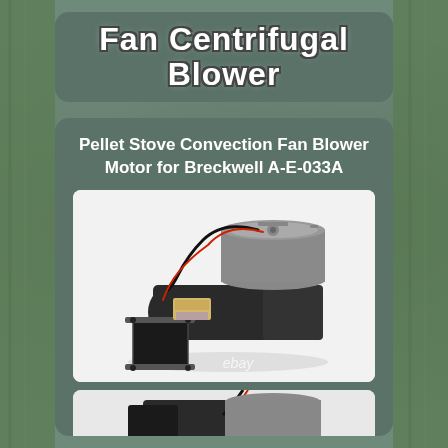Fan Centrifugal Blower
Pellet Stove Convection Fan Blower Motor for Breckwell A-E-033A
[Figure (photo): Black centrifugal blower fan motor unit with cylindrical motor on top, square intake port on front left, wiring harness, and capacitor visible. White background product photo with eBay watermark.]
[Figure (photo): Partial view of a second photo of the same or similar blower motor unit, bottom portion visible.]